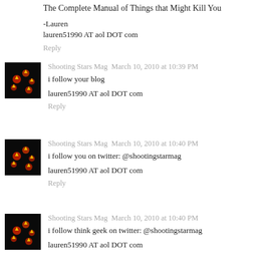The Complete Manual of Things that Might Kill You

-Lauren
lauren51990 AT aol DOT com
Reply
Shooting Stars Mag  March 10, 2010 at 10:39 PM
i follow your blog

lauren51990 AT aol DOT com
Reply
Shooting Stars Mag  March 10, 2010 at 10:40 PM
i follow you on twitter: @shootingstarmag

lauren51990 AT aol DOT com
Reply
Shooting Stars Mag  March 10, 2010 at 10:40 PM
i follow think geek on twitter: @shootingstarmag

lauren51990 AT aol DOT com